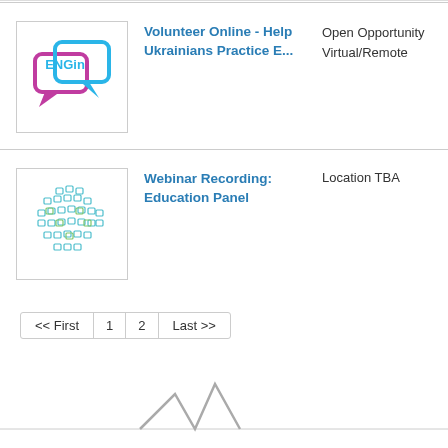[Figure (logo): ENGin logo with speech bubbles in blue and purple, text ENGin inside]
Volunteer Online - Help Ukrainians Practice E...
Open Opportunity
Virtual/Remote
[Figure (illustration): Circle made of colorful education-related icons in blue and green]
Webinar Recording: Education Panel
Location TBA
<< First  1  2  Last >>